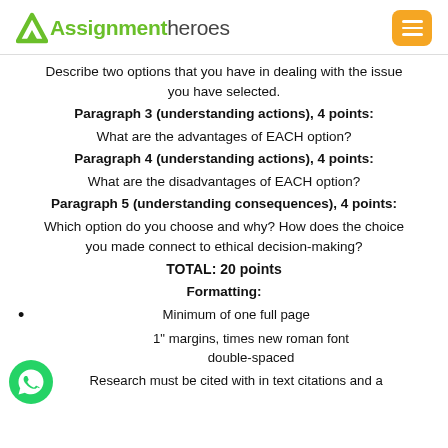Assignment Heroes
Describe two options that you have in dealing with the issue you have selected.
Paragraph 3 (understanding actions), 4 points: What are the advantages of EACH option?
Paragraph 4 (understanding actions), 4 points: What are the disadvantages of EACH option?
Paragraph 5 (understanding consequences), 4 points: Which option do you choose and why? How does the choice you made connect to ethical decision-making?
TOTAL: 20 points
Formatting:
Minimum of one full page
1” margins, times new roman font double-spaced
Research must be cited with in text citations and a